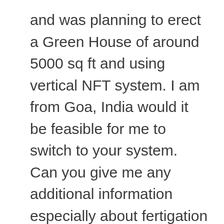and was planning to erect a Green House of around 5000 sq ft and using vertical NFT system. I am from Goa, India would it be feasible for me to switch to your system. Can you give me any additional information especially about fertigation and growing media in your system and will i be able to propagate the micro nutrients and can i use mix plants as in fruiting